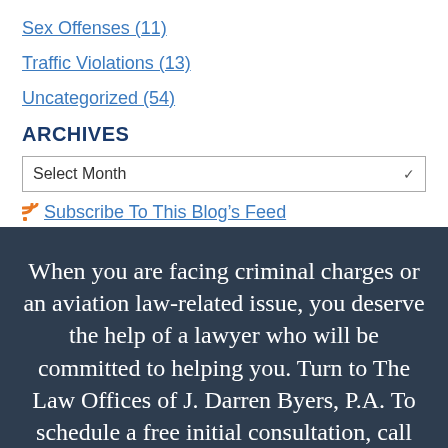Sex Offenses (11)
Traffic Violations (13)
Uncategorized (54)
ARCHIVES
Select Month
Subscribe To This Blog's Feed
When you are facing criminal charges or an aviation law-related issue, you deserve the help of a lawyer who will be committed to helping you. Turn to The Law Offices of J. Darren Byers, P.A. To schedule a free initial consultation, call